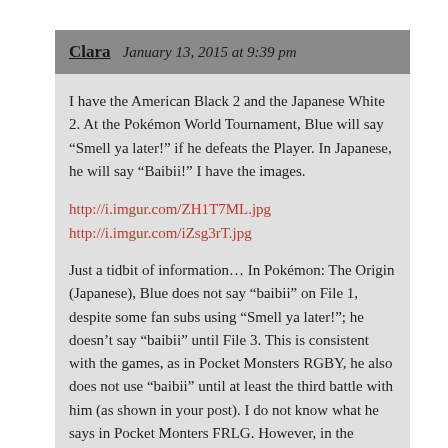Clara  January 13, 2015 at 9:39 pm
I have the American Black 2 and the Japanese White 2. At the Pokémon World Tournament, Blue will say “Smell ya later!” if he defeats the Player. In Japanese, he will say “Baibii!” I have the images.
http://i.imgur.com/ZH1T7ML.jpg
http://i.imgur.com/iZsg3rT.jpg
Just a tidbit of information… In Pokémon: The Origin (Japanese), Blue does not say “baibii” on File 1, despite some fan subs using “Smell ya later!”; he doesn’t say “baibii” until File 3. This is consistent with the games, as in Pocket Monsters RGBY, he also does not use “baibii” until at least the third battle with him (as shown in your post). I do not know what he says in Pocket Monters FRLG. However, in the English Pokémon Origins, Blue doesn’t say “Smell ya